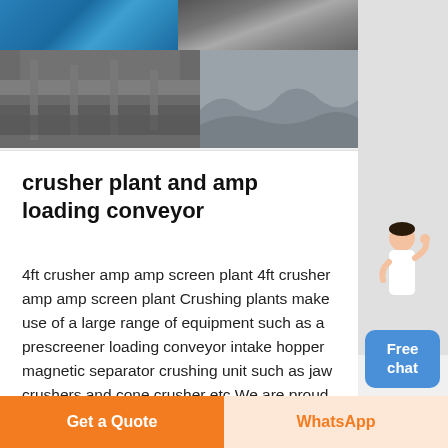[Figure (photo): Collage of industrial crusher plant machinery photos: top-left shows blue machinery component, top-right shows heavy equipment underside, bottom shows crusher/conveyor machinery close-up and rock/gravel pile.]
crusher plant and amp loading conveyor
4ft crusher amp amp screen plant 4ft crusher amp amp screen plant Crushing plants make use of a large range of equipment such as a prescreener loading conveyor intake hopper magnetic separator crushing unit such as jaw crushers and cone crusher etc We are proud to
Free chat
Get a Quote
WhatsApp